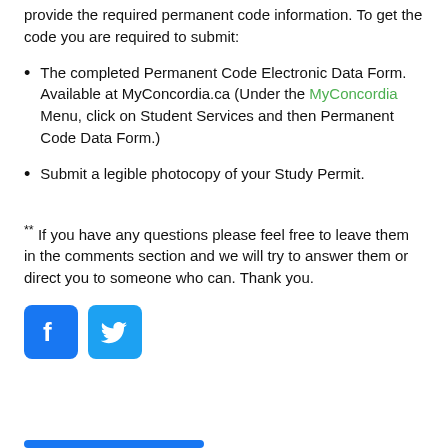provide the required permanent code information. To get the code you are required to submit:
The completed Permanent Code Electronic Data Form. Available at MyConcordia.ca (Under the MyConcordia Menu, click on Student Services and then Permanent Code Data Form.)
Submit a legible photocopy of your Study Permit.
** If you have any questions please feel free to leave them in the comments section and we will try to answer them or direct you to someone who can. Thank you.
[Figure (logo): Facebook and Twitter social media icons]